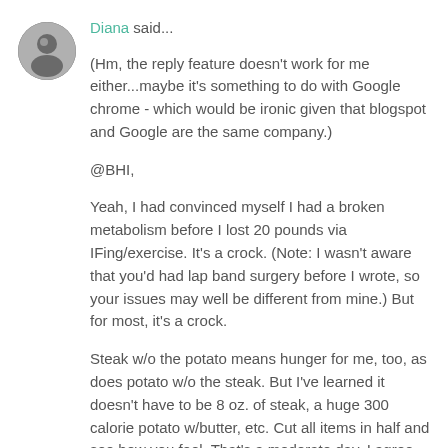[Figure (photo): Circular avatar photo of a person in black and white]
Diana said...
(Hm, the reply feature doesn't work for me either...maybe it's something to do with Google chrome - which would be ironic given that blogspot and Google are the same company.)
@BHI,
Yeah, I had convinced myself I had a broken metabolism before I lost 20 pounds via IFing/exercise. It's a crock. (Note: I wasn't aware that you'd had lap band surgery before I wrote, so your issues may well be different from mine.) But for most, it's a crock.
Steak w/o the potato means hunger for me, too, as does potato w/o the steak. But I've learned it doesn't have to be 8 oz. of steak, a huge 300 calorie potato w/butter, etc. Cut all items in half and see how you feel. That's a moderate day. I agree that bland food combinations of macronutrients on the IF day